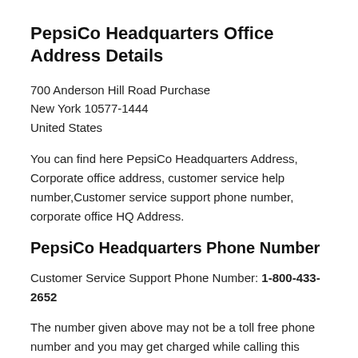PepsiCo Headquarters Office Address Details
700 Anderson Hill Road Purchase
New York 10577-1444
United States
You can find here PepsiCo Headquarters Address, Corporate office address, customer service help number,Customer service support phone number, corporate office HQ Address.
PepsiCo Headquarters Phone Number
Customer Service Support Phone Number: 1-800-433-2652
The number given above may not be a toll free phone number and you may get charged while calling this number